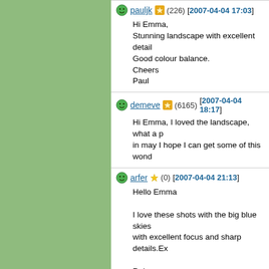pauljk (226) [2007-04-04 17:03]
Hi Emma,
Stunning landscape with excellent detail
Good colour balance.
Cheers
Paul
demeve (6165) [2007-04-04 18:17]
Hi Emma, I loved the landscape, what a p... in may I hope I can get some of this wond...
arfer (0) [2007-04-04 21:13]
Hello Emma

I love these shots with the big blue skies with excellent focus and sharp details.Ex...

Rob
thor68 (5674) [2007-04-05 8:35]
the power of 10mm! wonderful landscape... the highlands are beautiful as ever.
terrific composition with the stones in the... through the amazing mirror-lake to the m... wonderful dramatic clouds above.
well seen & captured, thorsten.